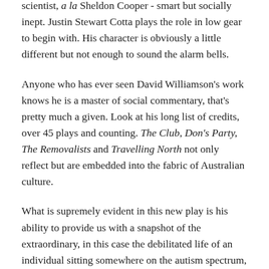scientist, a la Sheldon Cooper - smart but socially inept. Justin Stewart Cotta plays the role in low gear to begin with. His character is obviously a little different but not enough to sound the alarm bells.
Anyone who has ever seen David Williamson's work knows he is a master of social commentary, that's pretty much a given. Look at his long list of credits, over 45 plays and counting. The Club, Don's Party, The Removalists and Travelling North not only reflect but are embedded into the fabric of Australian culture.
What is supremely evident in this new play is his ability to provide us with a snapshot of the extraordinary, in this case the debilitated life of an individual sitting somewhere on the autism spectrum, and throwing it back to the audience in a palatable balance of comedy and drama. Autism